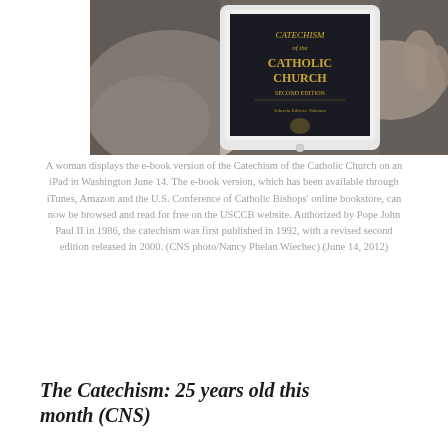[Figure (photo): A woman holding an iPad displaying the e-book version of the Catechism of the Catholic Church. The book cover is visible on the tablet screen with gold text on a dark background.]
A woman displays the e-book version of the Catechism of the Catholic Church on an iPad in Washington June 14. The e-book version, which has been available through iTunes, Amazon and the U.S. Conference of Catholic Bishops' online bookstore, can now be browsed and read for free on the USCCB website. Authorized by Pope John Paul II in 1986, the catechism was first published in 1992, with a revised second edition released in 2000. (CNS photo/Nancy Phelan Wiechec) (June 14, 2012)
The Catechism: 25 years old this month (CNS)